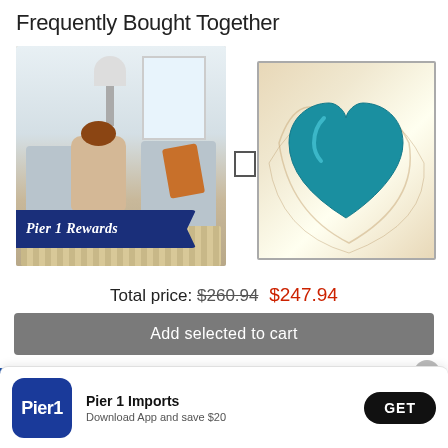Frequently Bought Together
[Figure (photo): Pier 1 Rewards promotional image showing a living room scene with gray chairs, a woman sitting, a dog, an orange throw, and a Pier 1 Rewards banner in the foreground]
[Figure (photo): Framed wall art depicting a teal/turquoise heart on a marble-like background with gold and brown swirls]
Total price: $260.94 $247.94
Add selected to cart
Pier 1 Imports
Download App and save $20
GET